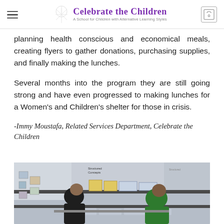Celebrate the Children – A School for Children with Alternative Learning Styles
planning health conscious and economical meals, creating flyers to gather donations, purchasing supplies, and finally making the lunches.
Several months into the program they are still going strong and have even progressed to making lunches for a Women's and Children's shelter for those in crisis.
-Immy Moustafa, Related Services Department, Celebrate the Children
[Figure (photo): Two students leaning over a table or shelving unit in a classroom, one wearing a dark hoodie and one wearing a green shirt. Classroom shelves and bulletin boards visible in background.]